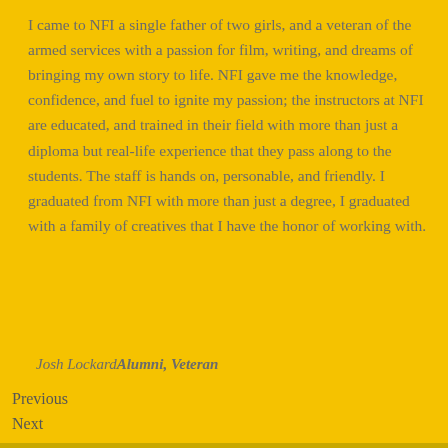I came to NFI a single father of two girls, and a veteran of the armed services with a passion for film, writing, and dreams of bringing my own story to life. NFI gave me the knowledge, confidence, and fuel to ignite my passion; the instructors at NFI are educated, and trained in their field with more than just a diploma but real-life experience that they pass along to the students. The staff is hands on, personable, and friendly. I graduated from NFI with more than just a degree, I graduated with a family of creatives that I have the honor of working with.
Josh Lockard Alumni, Veteran
Previous
Next